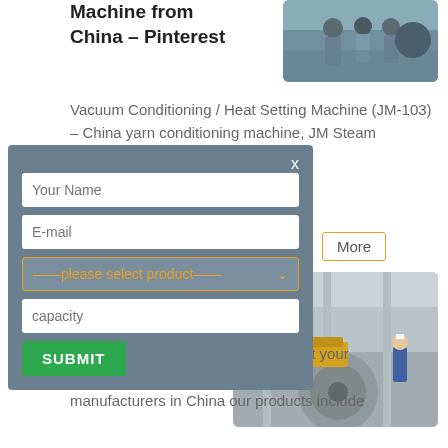Machine from China – Pinterest
[Figure (photo): Group of people standing in industrial/factory setting]
Vacuum Conditioning / Heat Setting Machine (JM-103) – China yarn conditioning machine, JM Steam BoilerVacuumsConditionerVacuum
[Figure (screenshot): Modal contact form with fields: Your Name, E-mail, please select product dropdown, capacity, and SUBMIT button. Close X button in top right.]
More
[Figure (photo): Industrial factory interior with large machinery and a worker in blue uniform and hard hat]
You price your boilers, ZOZEN is just your ZOZEN is one of the leading boiler manufacturers in China our products include